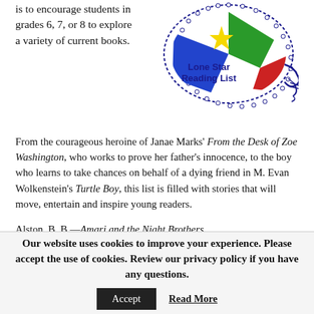is to encourage students in grades 6, 7, or 8 to explore a variety of current books.
[Figure (logo): Lone Star Reading List logo — colorful Texas state shape with a lizard border and text 'Lone Star Reading List']
From the courageous heroine of Janae Marks' From the Desk of Zoe Washington, who works to prove her father's innocence, to the boy who learns to take chances on behalf of a dying friend in M. Evan Wolkenstein's Turtle Boy, this list is filled with stories that will move, entertain and inspire young readers.
Alston, B. B.—Amari and the Night Brothers
Anderson, Jodi Lynn—Thirteen Witches:  The Memory Thief
Our website uses cookies to improve your experience. Please accept the use of cookies. Review our privacy policy if you have any questions.